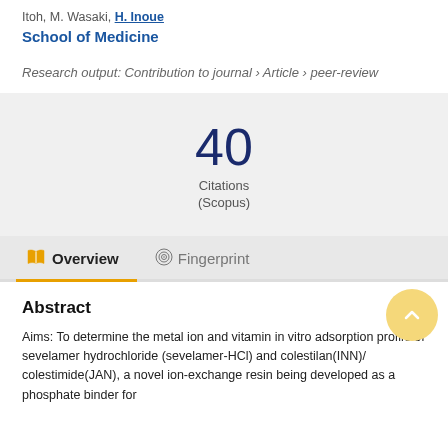Itoh, M. Wasaki, H. Inoue
School of Medicine
Research output: Contribution to journal › Article › peer-review
40 Citations (Scopus)
Overview
Fingerprint
Abstract
Aims: To determine the metal ion and vitamin in vitro adsorption profile of sevelamer hydrochloride (sevelamer-HCl) and colestilan(INN)/ colestimide(JAN), a novel ion-exchange resin being developed as a phosphate binder for